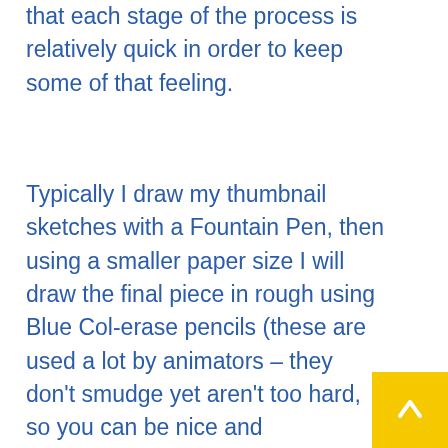that each stage of the process is relatively quick in order to keep some of that feeling.
Typically I draw my thumbnail sketches with a Fountain Pen, then using a smaller paper size I will draw the final piece in rough using Blue Col-erase pencils (these are used a lot by animators – they don't smudge yet aren't too hard, so you can be nice and expressive). I then scan this, print it faintly on to smooth finish (hot press) Watercolour paper (it has a touch more tooth than Bristol board so I find it suits my inking style better –